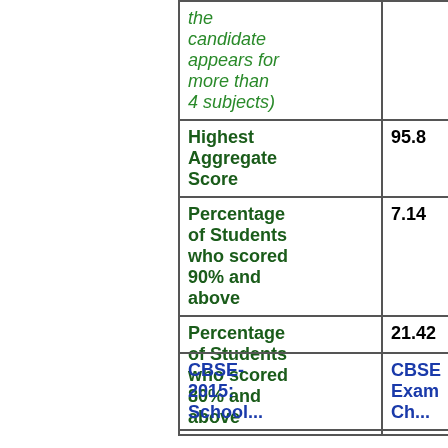|  |  |
| --- | --- |
| the candidate appears for more than 4 subjects) |  |
| Highest Aggregate Score | 95.8 |
| Percentage of Students who scored 90% and above | 7.14 |
| Percentage of Students who scored 80% and above | 21.42 |
| CBSE-2015: School... | CBSE Exam Ch... |
| --- | --- |